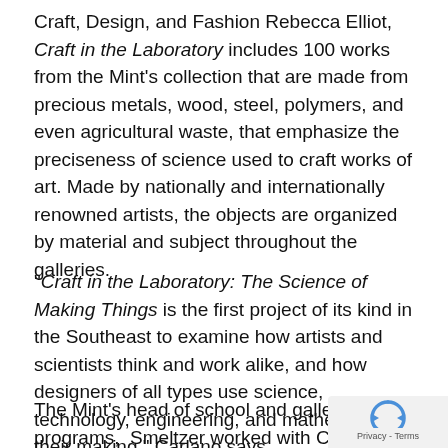Craft, Design, and Fashion Rebecca Elliot, Craft in the Laboratory includes 100 works from the Mint's collection that are made from precious metals, wood, steel, polymers, and even agricultural waste, that emphasize the preciseness of science used to craft works of art. Made by nationally and internationally renowned artists, the objects are organized by material and subject throughout the galleries.
“Craft in the Laboratory: The Science of Making Things is the first project of its kind in the Southeast to examine how artists and scientists think and work alike, and how designers of all types use science, technology, engineering, and mathematics in their making,” Carlano says.
The Mint’s head of school and gallery programs, Smeltzer worked with Carlano, Elliot, and educators...